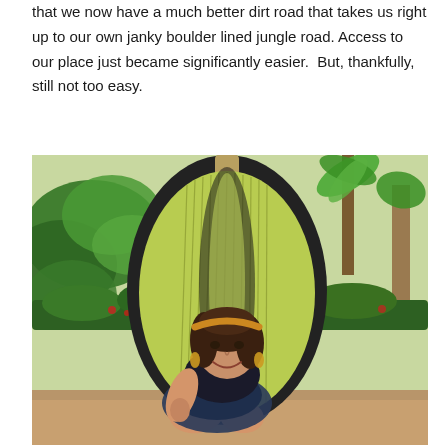that we now have a much better dirt road that takes us right up to our own janky boulder lined jungle road. Access to our place just became significantly easier.  But, thankfully, still not too easy.
[Figure (photo): A smiling woman with dark hair and a yellow headband sits in a large green woven hanging egg chair outdoors, surrounded by tropical plants and greenery.]